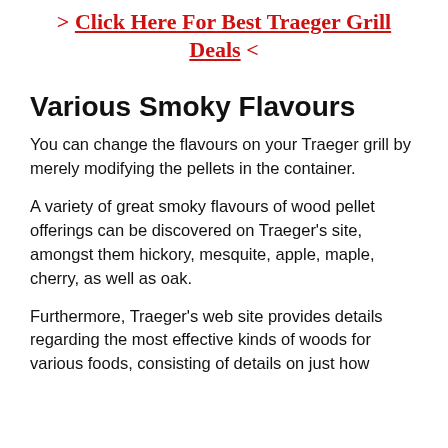> Click Here For Best Traeger Grill Deals <
Various Smoky Flavours
You can change the flavours on your Traeger grill by merely modifying the pellets in the container.
A variety of great smoky flavours of wood pellet offerings can be discovered on Traeger's site, amongst them hickory, mesquite, apple, maple, cherry, as well as oak.
Furthermore, Traeger's web site provides details regarding the most effective kinds of woods for various foods, consisting of details on just how to make use of the grill right after it's been...